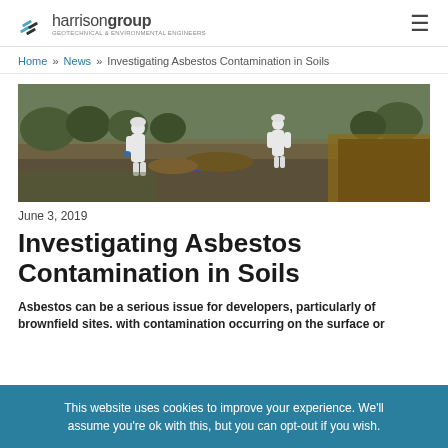harrison group — Geotechnical & Environmental Engineers
Home » News » Investigating Asbestos Contamination in Soils
[Figure (photo): Two workers in white hazmat suits investigating soil on a brownfield site, with excavated ground and machinery visible in the background.]
June 3, 2019
Investigating Asbestos Contamination in Soils
Asbestos can be a serious issue for developers, particularly of brownfield sites, with contamination occurring on the surface or
This website uses cookies to improve your experience. We'll assume you're ok with this, but you can opt-out if you wish.